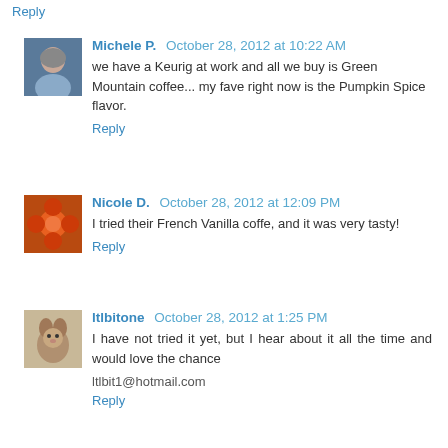Reply
Michele P.  October 28, 2012 at 10:22 AM
we have a Keurig at work and all we buy is Green Mountain coffee... my fave right now is the Pumpkin Spice flavor.
Reply
Nicole D.  October 28, 2012 at 12:09 PM
I tried their French Vanilla coffe, and it was very tasty!
Reply
ltlbitone  October 28, 2012 at 1:25 PM
I have not tried it yet, but I hear about it all the time and would love the chance
ltlbit1@hotmail.com
Reply